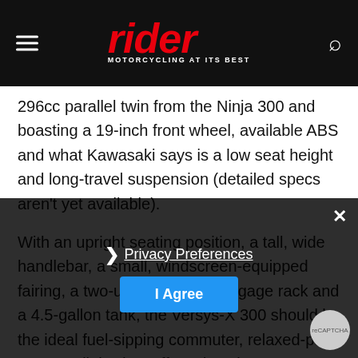rider — MOTORCYCLING AT ITS BEST
296cc parallel twin from the Ninja 300 and boasting a 19-inch front wheel, available ABS and what Kawasaki says is a low seat height and long-travel suspension (detailed specs aren't yet available).
With an upright seating position, a tall, wide handlebar, a small, windscreen-equipped fairing, a two-up seat with a luggage rack and a 4.5-gallon tank, the Versys-X 300 should be the ideal fuel-sipping commuter, relaxed-pace tourer or light-duty off-road explorer. Kawasaki says it offers sporty and nimble handling, no doubt thanks to its light weight and compact dimensions.
Privacy Preferences — I Agree